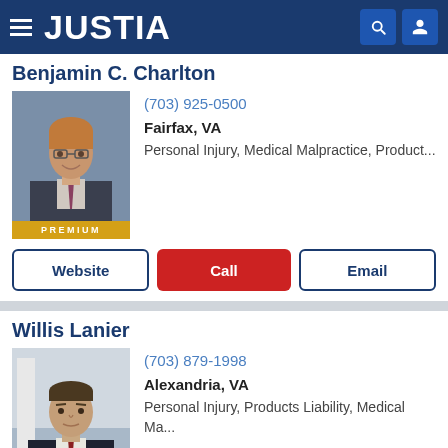JUSTIA
Benjamin C. Charlton
(703) 925-0500
Fairfax, VA
Personal Injury, Medical Malpractice, Product...
Website  Call  Email
Willis Lanier
(703) 879-1998
Alexandria, VA
Personal Injury, Products Liability, Medical Ma...
Website  Call  Email